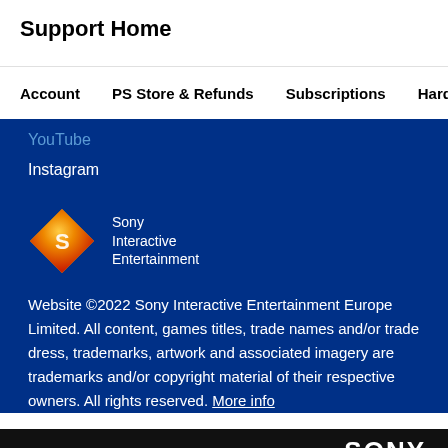Support Home
Account  PS Store & Refunds  Subscriptions  Hardw›
YouTube
Instagram
[Figure (logo): Sony Interactive Entertainment diamond logo with orange/red gradient and SIE text]
Website ©2022 Sony Interactive Entertainment Europe Limited. All content, games titles, trade names and/or trade dress, trademarks, artwork and associated imagery are trademarks and/or copyright material of their respective owners. All rights reserved. More info
SONY